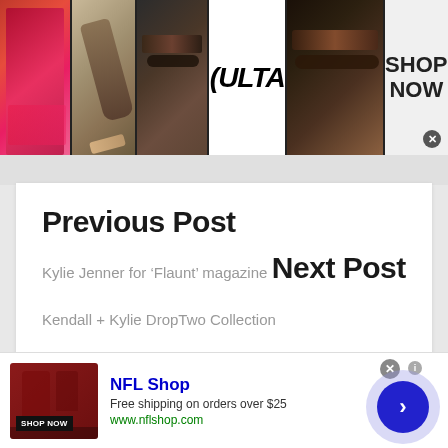[Figure (illustration): Ulta Beauty top advertisement banner with makeup photos (lips, brush, eye) and ULTA logo, and SHOP NOW button]
Previous Post
Kylie Jenner for ‘Flaunt’ magazine
Next Post
Kendall + Kylie DropTwo Collection
[Figure (illustration): NFL Shop advertisement with red product image, SHOP NOW button, NFL Shop name, Free shipping on orders over $25, www.nflshop.com, close button, and navigation arrow circle]